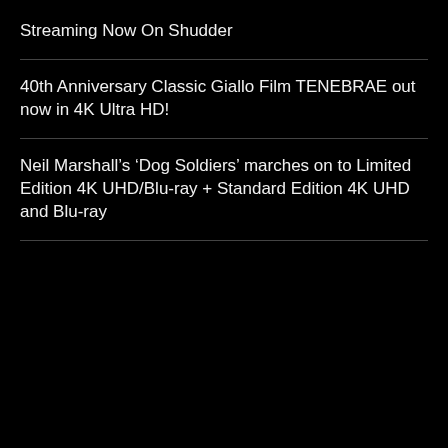Streaming Now On Shudder
40th Anniversary Classic Giallo Film TENEBRAE out now in 4K Ultra HD!
Neil Marshall's ‘Dog Soldiers’ marches on to Limited Edition 4K UHD/Blu-ray + Standard Edition 4K UHD and Blu-ray